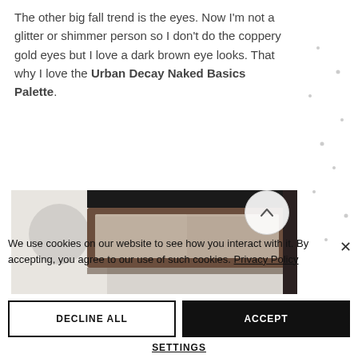The other big fall trend is the eyes. Now I'm not a glitter or shimmer person so I don't do the coppery gold eyes but I love a dark brown eye looks. That why I love the Urban Decay Naked Basics Palette.
[Figure (photo): Photo of an Urban Decay Naked Basics Palette makeup product, rectangular brown/dark case shown at an angle, with blurred background.]
We use cookies on our website to see how you interact with it. By accepting, you agree to our use of such cookies. Privacy Policy
DECLINE ALL
ACCEPT
SETTINGS